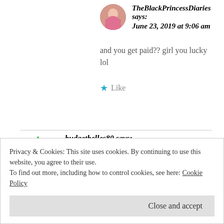TheBlackPrincessDiaries says: June 23, 2019 at 9:06 am
and you get paid?? girl you lucky lol
Like
budgetbelles80 says: June 20, 2019 at 11:11 am
Privacy & Cookies: This site uses cookies. By continuing to use this website, you agree to their use. To find out more, including how to control cookies, see here: Cookie Policy
Close and accept